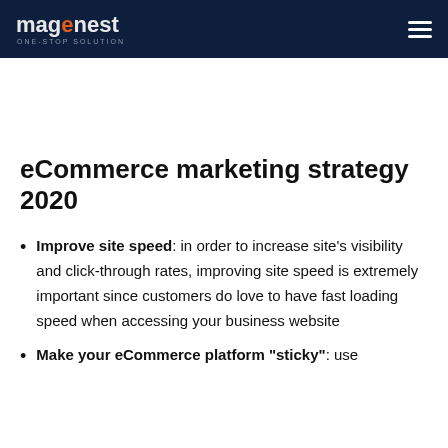magenest ONE-STOP SOLUTION
eCommerce marketing strategy 2020
Improve site speed: in order to increase site's visibility and click-through rates, improving site speed is extremely important since customers do love to have fast loading speed when accessing your business website
Make your eCommerce platform “sticky”: use